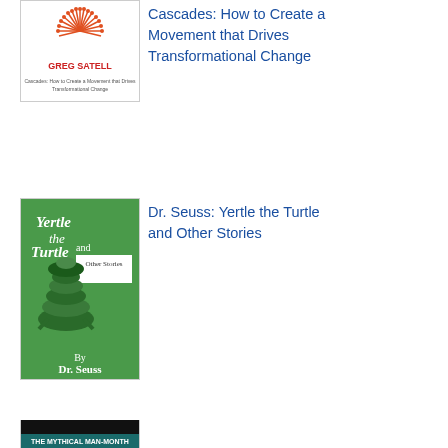[Figure (illustration): Book cover of 'Cascades: How to Create a Movement that Drives Transformational Change' by Greg Satell - white cover with radial line design]
Cascades: How to Create a Movement that Drives Transformational Change
[Figure (illustration): Book cover of 'Dr. Seuss: Yertle the Turtle and Other Stories' - green cover with illustration of turtles stacked]
Dr. Seuss: Yertle the Turtle and Other Stories
[Figure (illustration): Book cover of 'The Mythical Man-Month' - dark/black cover with teal text area at bottom]